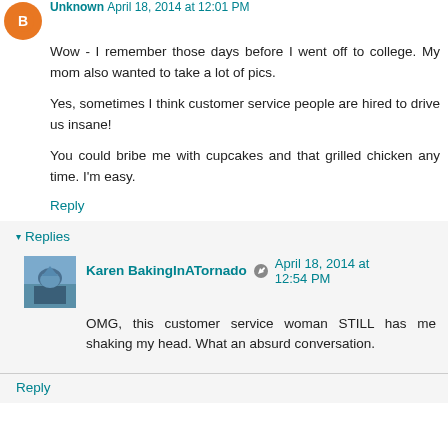Unknown April 18, 2014 at 12:01 PM
Wow - I remember those days before I went off to college. My mom also wanted to take a lot of pics.
Yes, sometimes I think customer service people are hired to drive us insane!
You could bribe me with cupcakes and that grilled chicken any time. I'm easy.
Reply
Replies
Karen BakingInATornado April 18, 2014 at 12:54 PM
OMG, this customer service woman STILL has me shaking my head. What an absurd conversation.
Reply